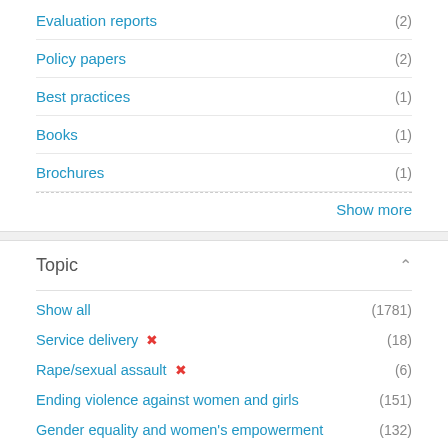Evaluation reports (2)
Policy papers (2)
Best practices (1)
Books (1)
Brochures (1)
Show more
Topic
Show all (1781)
Service delivery ✗ (18)
Rape/sexual assault ✗ (6)
Ending violence against women and girls (151)
Gender equality and women's empowerment (132)
Economic empowerment (75)
Leadership and political participation (49)
Peace and security (48)
COVID-19 (45)